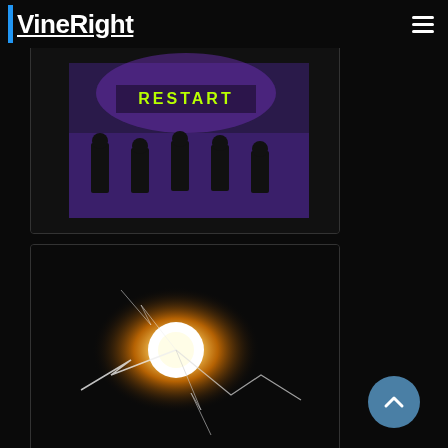VineRight
[Figure (screenshot): Video thumbnail showing dancers on stage with purple lighting and RESTART text overlay]
[Figure (photo): Dark image with bright glowing orb and lightning/spark effects on black background]
[Figure (photo): Dance studio with person dancing in wide stance, white walls and floor]
[Figure (photo): People dancing/exercising outdoors under a tree tunnel archway with green foliage]